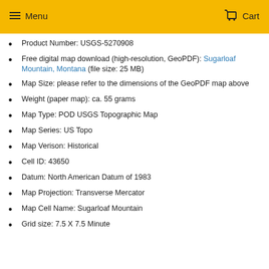Menu  Cart
Product Number: USGS-5270908
Free digital map download (high-resolution, GeoPDF): Sugarloaf Mountain, Montana (file size: 25 MB)
Map Size: please refer to the dimensions of the GeoPDF map above
Weight (paper map): ca. 55 grams
Map Type: POD USGS Topographic Map
Map Series: US Topo
Map Verison: Historical
Cell ID: 43650
Datum: North American Datum of 1983
Map Projection: Transverse Mercator
Map Cell Name: Sugarloaf Mountain
Grid size: 7.5 X 7.5 Minute